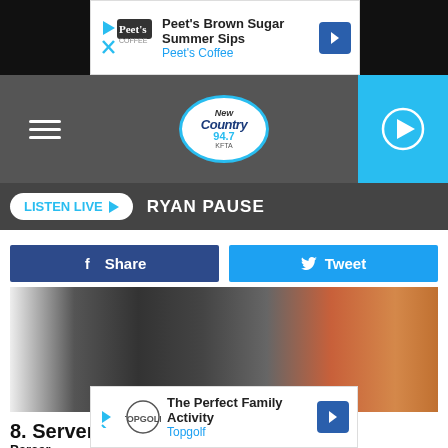[Figure (screenshot): Peet's Coffee advertisement banner at top of page]
[Figure (logo): New Country 94.7 radio station logo in oval with hamburger menu and play button]
LISTEN LIVE ▶  RYAN PAUSE
[Figure (screenshot): Facebook Share button and Twitter Tweet button]
[Figure (photo): Photo of a server/waiter taking an order at a restaurant table with two women customers]
8. Servers
Percer
[Figure (screenshot): Topgolf advertisement banner at bottom of page - The Perfect Family Activity]